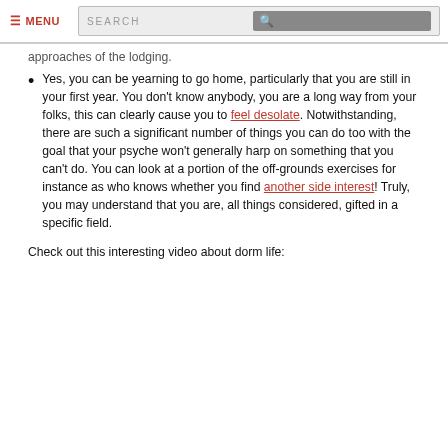≡ MENU   SEARCH
approaches of the lodging.
Yes, you can be yearning to go home, particularly that you are still in your first year. You don't know anybody, you are a long way from your folks, this can clearly cause you to feel desolate. Notwithstanding, there are such a significant number of things you can do too with the goal that your psyche won't generally harp on something that you can't do. You can look at a portion of the off-grounds exercises for instance as who knows whether you find another side interest! Truly, you may understand that you are, all things considered, gifted in a specific field.
Check out this interesting video about dorm life: